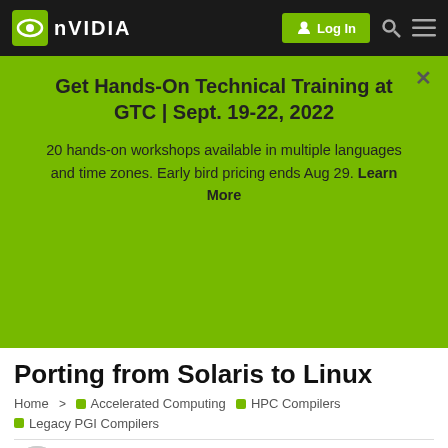[Figure (screenshot): NVIDIA logo in white on black navbar background]
Get Hands-On Technical Training at GTC | Sept. 19-22, 2022
20 hands-on workshops available in multiple languages and time zones. Early bird pricing ends Aug 29. Learn More
Porting from Solaris to Linux
Home > Accelerated Computing HPC Compilers Legacy PGI Compilers
mcolozzi Dec 03 '12 1/4